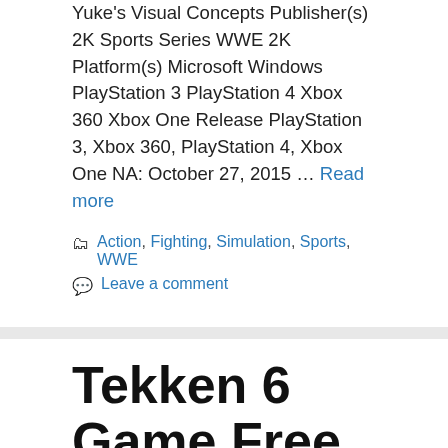Yuke's Visual Concepts Publisher(s) 2K Sports Series WWE 2K Platform(s) Microsoft Windows PlayStation 3 PlayStation 4 Xbox 360 Xbox One Release PlayStation 3, Xbox 360, PlayStation 4, Xbox One NA: October 27, 2015 … Read more
Action, Fighting, Simulation, Sports, WWE
Leave a comment
Tekken 6 Game Free Download For PC Full Version Windows 7